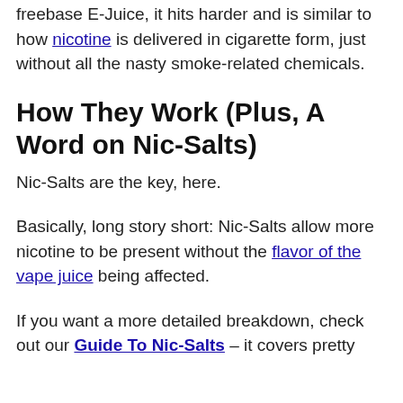freebase E-Juice, it hits harder and is similar to how nicotine is delivered in cigarette form, just without all the nasty smoke-related chemicals.
How They Work (Plus, A Word on Nic-Salts)
Nic-Salts are the key, here.
Basically, long story short: Nic-Salts allow more nicotine to be present without the flavor of the vape juice being affected.
If you want a more detailed breakdown, check out our Guide To Nic-Salts – it covers pretty